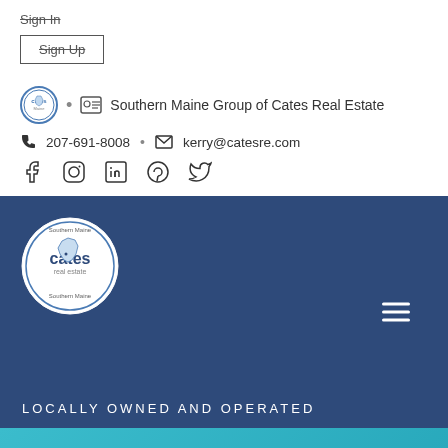Sign In
Sign Up
Southern Maine Group of Cates Real Estate
207-691-8008 • kerry@catesre.com
[Figure (logo): Social media icons: Facebook, Instagram, LinkedIn, Pinterest, Twitter]
[Figure (logo): Cates Real Estate circular logo - Southern Maine, locally owned and operated]
LOCALLY OWNED AND OPERATED